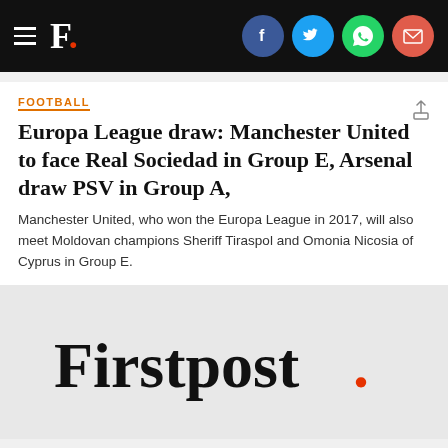F. [Firstpost logo header with social icons: Facebook, Twitter, WhatsApp, Email]
FOOTBALL
Europa League draw: Manchester United to face Real Sociedad in Group E, Arsenal draw PSV in Group A,
Manchester United, who won the Europa League in 2017, will also meet Moldovan champions Sheriff Tiraspol and Omonia Nicosia of Cyprus in Group E.
[Figure (logo): Firstpost logo — black serif text 'Firstpost' with a red period/dot]
FOOTBALL